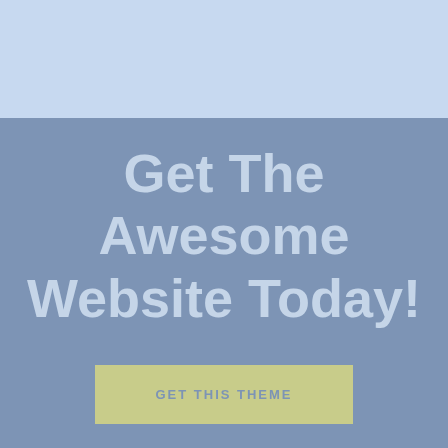[Figure (other): Light blue header bar at the top of the page]
Get The Awesome Website Today!
GET THIS THEME